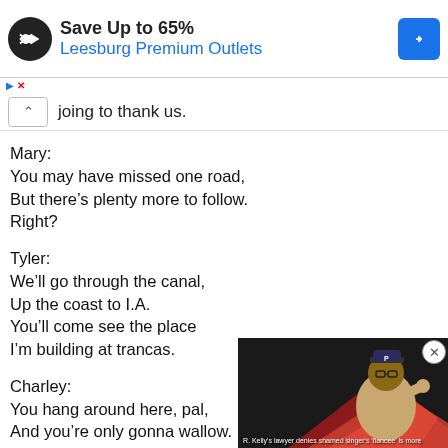[Figure (screenshot): Ad banner: Save Up to 65% Leesburg Premium Outlets with logo and navigation icon]
joing to thank us.
Mary:
You may have missed one road,
But there’s plenty more to follow.
Right?
Tyler:
We’ll go through the canal,
Up the coast to I.A.
You’ll come see the place
I’m building at trancas.
Charley:
You hang around here, pal,
And you’re only gonna wallow.
Right?
All:
Right!
[Figure (screenshot): Video overlay thumbnail: man in Pittsburgh Pirates cap pointing, caption reads R. Kelly's lawyer denies shamed singer's 'fiancee' is more]